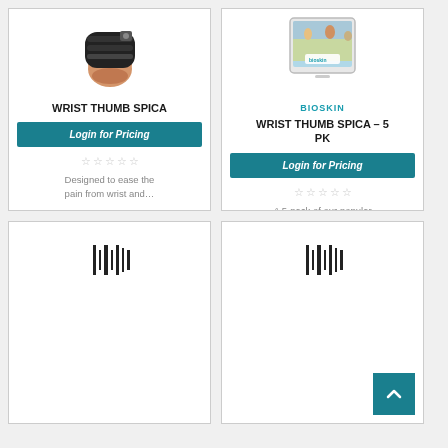[Figure (photo): Wrist thumb spica brace worn on a wrist/hand]
WRIST THUMB SPICA
Login for Pricing
☆☆☆☆☆
Designed to ease the pain from wrist and…
[Figure (photo): Bioskin product shown on a tablet/phone screen with people in background]
BIOSKIN
WRIST THUMB SPICA – 5 PK
Login for Pricing
☆☆☆☆☆
A 5-pack of our popular wrist and thumb brace.
[Figure (other): Bottom left product card with barcode/audio wave icon, partially visible]
[Figure (other): Bottom right product card with barcode/audio wave icon, partially visible]